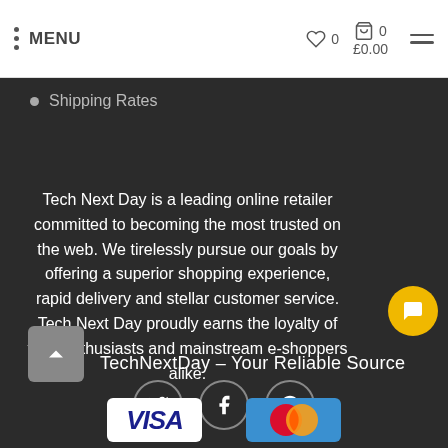MENU  ♡ 0  🛒 0  £0.00
Shipping Rates
Tech Next Day is a leading online retailer committed to becoming the most trusted on the web. We tirelessly pursue our goals by offering a superior shopping experience, rapid delivery and stellar customer service. Tech Next Day proudly earns the loyalty of tech-enthusiasts and mainstream e-shoppers alike.
[Figure (other): Social media icons: Twitter, Facebook, Pinterest in circular borders]
TechNextDay – Your Reliable Source
[Figure (other): Payment method logos: Visa and Mastercard]